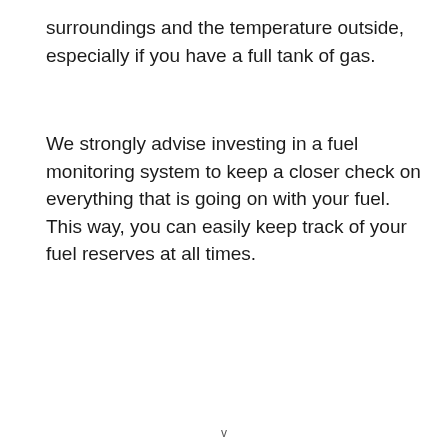surroundings and the temperature outside, especially if you have a full tank of gas.
We strongly advise investing in a fuel monitoring system to keep a closer check on everything that is going on with your fuel. This way, you can easily keep track of your fuel reserves at all times.
v